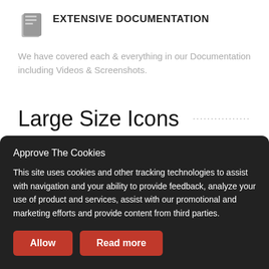EXTENSIVE DOCUMENTATION
We have covered each & everything in our Documentation including Videos & Screenshots.
Large Size Icons
RESPONSIVE LAYOUT
Approve The Cookies
This site uses cookies and other tracking technologies to assist with navigation and your ability to provide feedback, analyze your use of product and services, assist with our promotional and marketing efforts and provide content from third parties.
Allow
Read more